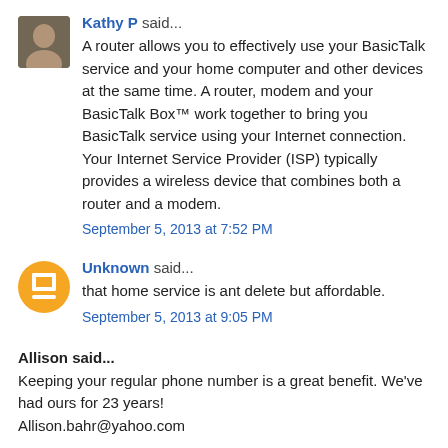Kathy P said...
A router allows you to effectively use your BasicTalk service and your home computer and other devices at the same time. A router, modem and your BasicTalk Box™ work together to bring you BasicTalk service using your Internet connection. Your Internet Service Provider (ISP) typically provides a wireless device that combines both a router and a modem.
September 5, 2013 at 7:52 PM
Unknown said...
that home service is ant delete but affordable.
September 5, 2013 at 9:05 PM
Allison said...
Keeping your regular phone number is a great benefit. We've had ours for 23 years!
Allison.bahr@yahoo.com